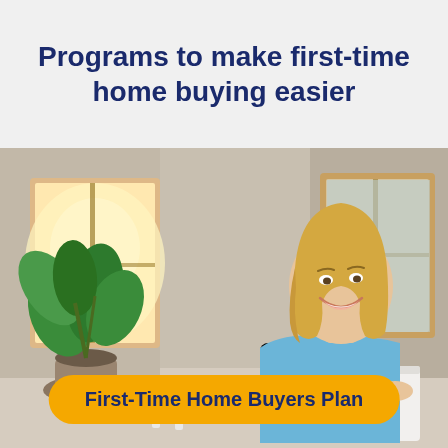Programs to make first-time home buying easier
[Figure (photo): Smiling blond woman leaning arms on a white box/surface in a bright room with large windows, a green tropical plant in a pot on the left, warm sunlight coming through the window, casual interior setting suggesting a new home.]
First-Time Home Buyers Plan